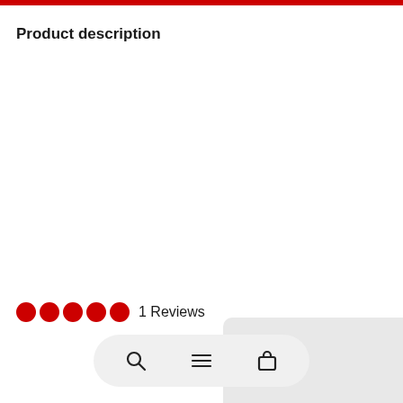Product description
●●●●● 1 Reviews
[Figure (screenshot): Mobile app navigation bar with search, menu, and cart icons in a pill-shaped container]